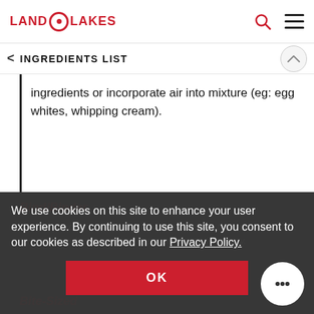LAND O LAKES
INGREDIENTS LIST
ingredients or incorporate air into mixture (eg: egg whites, whipping cream).
Bind/Binder
To add a thickening ingredient such as an egg, flour or cornstarch, to hold ingredients together in soups, sauces or gravy.
Bite-Sized
We use cookies on this site to enhance your user experience. By continuing to use this site, you consent to our cookies as described in our Privacy Policy.